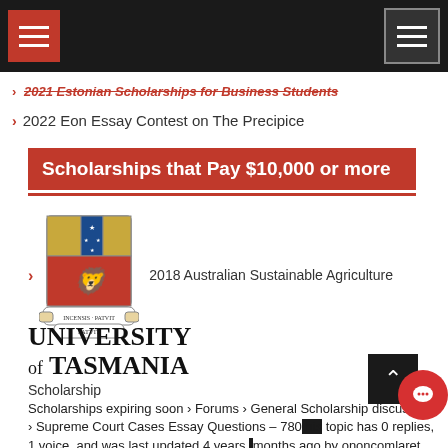[Navigation header with menu icons]
2021 Estonian Scholarships for Business Students (strikethrough)
2022 Eon Essay Contest on The Precipice
Scholarships that Pay $10,000 or more
[Figure (logo): University of Tasmania crest/coat of arms logo with shield, lion, and banner reading INCENSIS PATVIT CAMPUS]
2018 Australian Sustainable Agriculture
UNIVERSITY OF TASMANIA
Scholarship
Scholarships expiring soon › Forums › General Scholarship discussion › Supreme Court Cases Essay Questions – 780 This topic has 0 replies, 1 voice, and was last updated 4 years, months ago by ononcomlaret. Viewing 0 reply threads Author Posts February 12, 2018 at 8:42 pm #26982 ononcomlaretParticipant